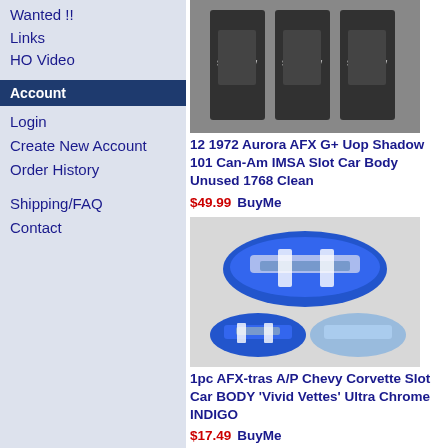Wanted !!
Links
HO Video
Account
Login
Create New Account
Order History
Shipping/FAQ
Contact
[Figure (photo): 12 1972 Aurora AFX G+ Uop Shadow 101 Can-Am IMSA slot car bodies in packaging]
12 1972 Aurora AFX G+ Uop Shadow 101 Can-Am IMSA Slot Car Body Unused 1768 Clean
$49.99  BuyMe
[Figure (photo): Blue AFX-tras A/P Chevy Corvette slot car bodies shown from multiple angles]
1pc AFX-tras A/P Chevy Corvette Slot Car BODY 'Vivid Vettes' Ultra Chrome INDIGO
$17.49  BuyMe
[Figure (photo): Multiple colorful slot car bodies in green, pink, purple, red and other colors]